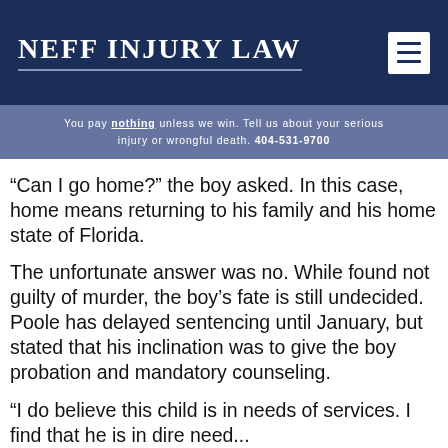NEFF INJURY LAW
You pay nothing unless we win. Tell us about your serious injury or wrongful death. 404-531-9700
“Can I go home?” the boy asked. In this case, home means returning to his family and his home state of Florida.
The unfortunate answer was no. While found not guilty of murder, the boy’s fate is still undecided. Poole has delayed sentencing until January, but stated that his inclination was to give the boy probation and mandatory counseling.
“I do believe this child is in needs of services. I find that he is in dire need...